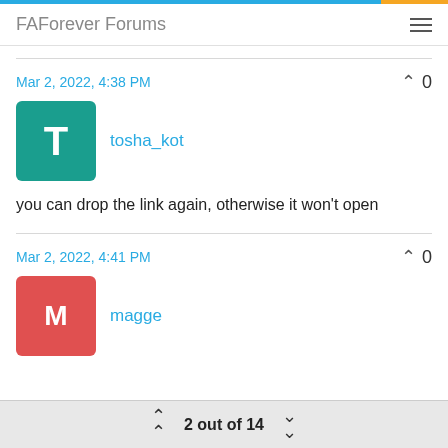FAForever Forums
Mar 2, 2022, 4:38 PM
tosha_kot
you can drop the link again, otherwise it won't open
Mar 2, 2022, 4:41 PM
magge
2 out of 14